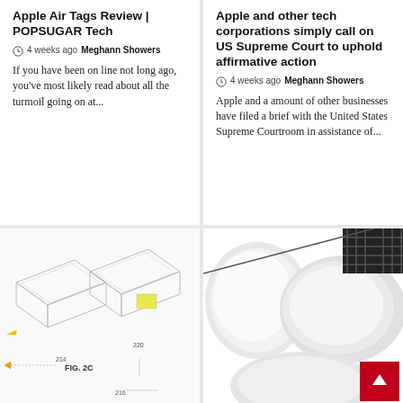Apple Air Tags Review | POPSUGAR Tech
4 weeks ago  Meghann Showers
If you have been on line not long ago, you've most likely read about all the turmoil going on at...
Apple and other tech corporations simply call on US Supreme Court to uphold affirmative action
4 weeks ago  Meghann Showers
Apple and a amount of other businesses have filed a brief with the United States Supreme Courtroom in assistance of...
[Figure (illustration): Patent-style technical illustration showing a foldable device with FIG. 2C label and component numbers 214, 220, 216. A yellow square component is highlighted.]
[Figure (photo): Close-up photo of white Apple AirPods earbuds, showing the rounded white earpiece design against a white background. A red back-to-top button is overlaid in the corner.]